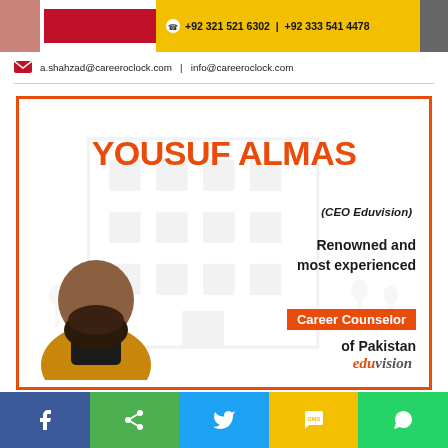+92 321 521 6302 | +92 333 541 4478
a.shahzad@careeroclock.com | info@careeroclock.com
[Figure (photo): Promotional card for Yousuf Almas, CEO Eduvision, described as Renowned and most experienced Career Counselor of Pakistan, with his photo and Eduvision branding]
Social sharing bar: Facebook, Share, Twitter, SMS, WhatsApp